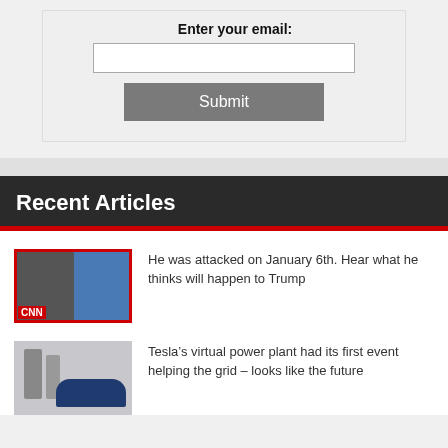Enter your email:
Submit
Recent Articles
[Figure (photo): CNN thumbnail showing two faces side by side with CNN logo and red border]
He was attacked on January 6th. Hear what he thinks will happen to Trump
[Figure (photo): Tesla Powerwall and electric vehicle photo for virtual power plant article]
Tesla’s virtual power plant had its first event helping the grid – looks like the future